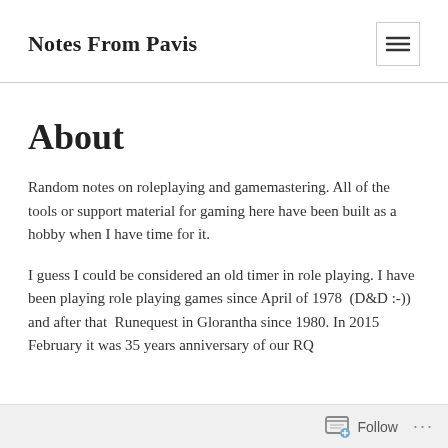Notes From Pavis
About
Random notes on roleplaying and gamemastering. All of the tools or support material for gaming here have been built as a hobby when I have time for it.
I guess I could be considered an old timer in role playing. I have been playing role playing games since April of 1978  (D&D :-)) and after that  Runequest in Glorantha since 1980. In 2015 February it was 35 years anniversary of our RQ
Follow ...